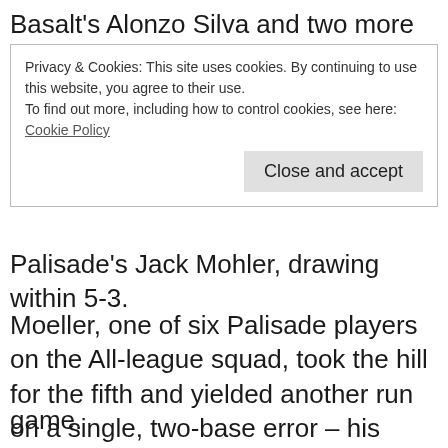Basalt’s Alonzo Silva and two more errors to
Privacy & Cookies: This site uses cookies. By continuing to use this website, you agree to their use.
To find out more, including how to control cookies, see here:
Cookie Policy
Close and accept
Palisade’s Jack Mohler, drawing within 5-3.
Moeller, one of six Palisade players on the All-league squad, took the hill for the fifth and yielded another run on a single, two-base error – his team’s eighth of the game – and a sacrifice fly. Moeller then issued back-
game.